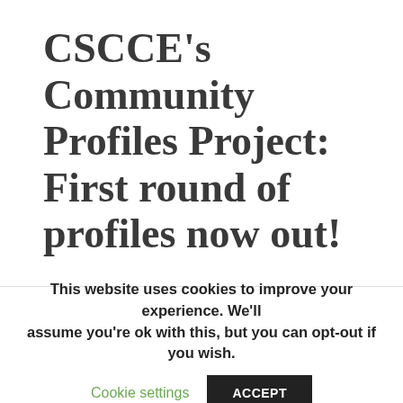CSCCE's Community Profiles Project: First round of profiles now out!
Today we're launching the first outputs from a project that we've been working on this year to better characterize communities in science – and to support scientific community managers, their leadership, and funders to meaningfully compare some of the current activities taking
This website uses cookies to improve your experience. We'll assume you're ok with this, but you can opt-out if you wish.
Cookie settings    ACCEPT